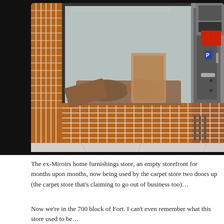[Figure (photo): A storefront of the ex-Miroirs home furnishings store, showing a large display window with rolled carpet or fabric items inside, red terracotta tile cladding on the lower facade, a door with metal frame, and the number 822 visible in the upper right. The image is framed with a dark/black border.]
The ex-Miroirs home furnishings store, an empty storefront for months upon months, now being used by the carpet store two doors up (the carpet store that's claiming to go out of business too)…
Now we're in the 700 block of Fort. I can't even remember what this store used to be…